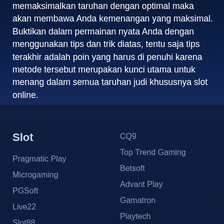memaksimalkan taruhan dengan optimal maka akan membawa Anda kemenangan yang maksimal. Buktikan dalam permainan nyata Anda dengan menggunakan tips dan trik diatas, tentu saja tips terakhir adalah poin yang harus di penuhi karena metode tersebut merupakan kunci utama untuk menang dalam semua taruhan judi khususnya slot online.
Slot
Pragmatic Play
Microgaming
PGSoft
Live22
Slot88
ION Slot
Joker
CQ9
Top Trend Gaming
Betsoft
Advant Play
Gamatron
Playtech
YGG Drasil
Play n Go